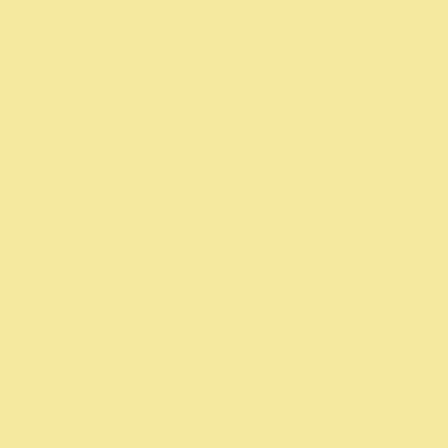Love the way she rubs her hands tog... wait to tear into it.
Posted by: Joe C | Tuesday, 28 December 2010 at 02:1...
Amazing topic. Especially since I lo... photography. Of course a hundred di... my head a second after I read the na... mention a couple.
Of course, I have to agree with the fi... she was amazing. Basically everythi... sunshine or People get ready. May sh...
But the one that I really want to poir... people know but I really love. And s... already I will give you another versi...
I'm talking about The Electric Light ... a cover of Twist and Shout: http://wv=6NNdET4d-XU